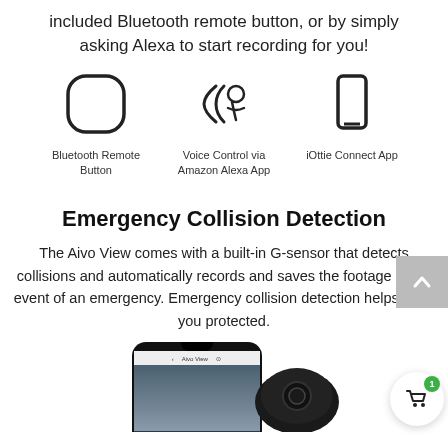included Bluetooth remote button, or by simply asking Alexa to start recording for you!
[Figure (illustration): Three icons in a row: Bluetooth Remote Button (rounded square icon), Voice Control via Amazon Alexa App (voice wave icon), iOttie Connect App (phone outline icon), each with a text label below]
Emergency Collision Detection
The Aivo View comes with a built-in G-sensor that detects collisions and automatically records and saves the footage in the event of an emergency. Emergency collision detection helps keep you protected.
[Figure (photo): Bottom section showing a smartphone displaying the Aivo View app with a street scene, next to a dark dash camera device, with a shopping cart badge with the number 1 in the bottom right corner.]